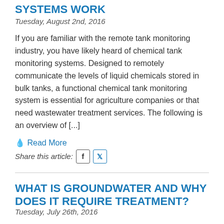SYSTEMS WORK
Tuesday, August 2nd, 2016
If you are familiar with the remote tank monitoring industry, you have likely heard of chemical tank monitoring systems. Designed to remotely communicate the levels of liquid chemicals stored in bulk tanks, a functional chemical tank monitoring system is essential for agriculture companies or that need wastewater treatment services. The following is an overview of [...]
Read More
Share this article:
WHAT IS GROUNDWATER AND WHY DOES IT REQUIRE TREATMENT?
Tuesday, July 26th, 2016
When you think about water sources, lakes, ponds,